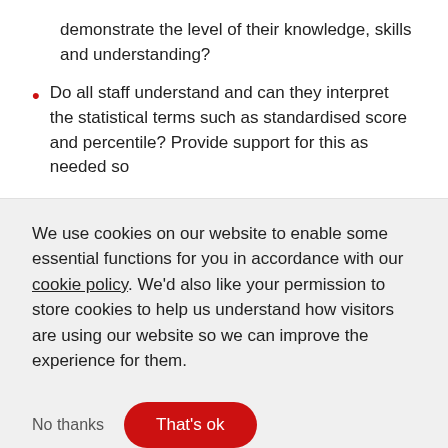demonstrate the level of their knowledge, skills and understanding?
Do all staff understand and can they interpret the statistical terms such as standardised score and percentile? Provide support for this as needed so
We use cookies on our website to enable some essential functions for you in accordance with our cookie policy. We'd also like your permission to store cookies to help us understand how visitors are using our website so we can improve the experience for them.
No thanks
That's ok